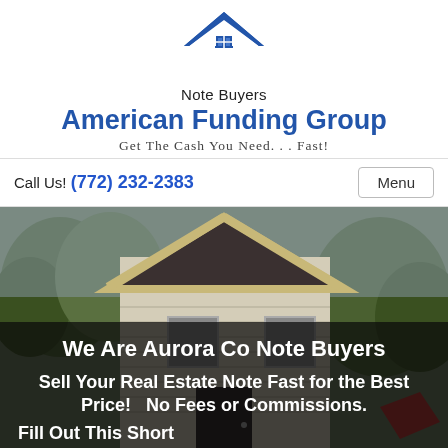[Figure (logo): House/roof logo icon in blue with window grid, for American Funding Group Note Buyers]
Note Buyers
American Funding Group
Get The Cash You Need... Fast!
Call Us! (772) 232-2383
Menu
[Figure (photo): Photo of a house exterior with a pointed roofline, siding, and trees in background]
We Are Aurora Co Note Buyers
Sell Your Real Estate Note Fast for the Best Price!   No Fees or Commissions.
Fill Out This Short